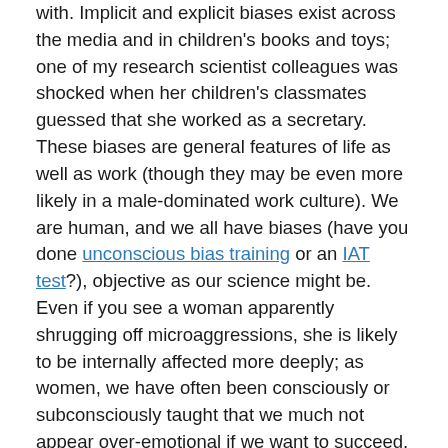with. Implicit and explicit biases exist across the media and in children's books and toys; one of my research scientist colleagues was shocked when her children's classmates guessed that she worked as a secretary. These biases are general features of life as well as work (though they may be even more likely in a male-dominated work culture). We are human, and we all have biases (have you done unconscious bias training or an IAT test?), objective as our science might be. Even if you see a woman apparently shrugging off microaggressions, she is likely to be internally affected more deeply; as women, we have often been consciously or subconsciously taught that we much not appear over-emotional if we want to succeed. People will also experience microaggressions due to race, disability and other visible characteristics, and I suspect some of our male scientists, especially those who attended state schools, faced bullying due to being labelled a 'geek' or 'nerd' at school. We all have privilege in some areas, and a lack of it in others; we are all different.